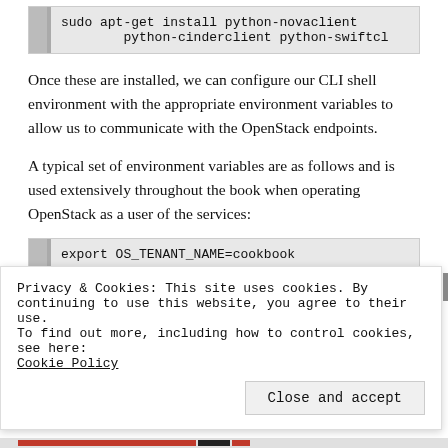[Figure (screenshot): Code block showing: sudo apt-get install python-novaclient python-cinderclient python-swiftcl]
Once these are installed, we can configure our CLI shell environment with the appropriate environment variables to allow us to communicate with the OpenStack endpoints.
A typical set of environment variables are as follows and is used extensively throughout the book when operating OpenStack as a user of the services:
[Figure (screenshot): Code block showing: export OS_TENANT_NAME=cookbook]
Privacy & Cookies: This site uses cookies. By continuing to use this website, you agree to their use.
To find out more, including how to control cookies, see here:
Cookie Policy
Close and accept